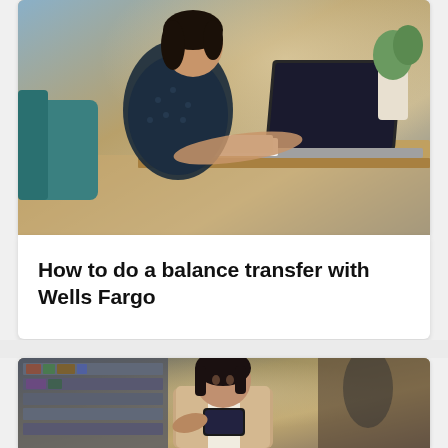[Figure (photo): Woman in dark polka-dot blouse sitting at a wooden desk, working on a laptop computer and holding papers. Plants and home decor visible in background.]
How to do a balance transfer with Wells Fargo
[Figure (photo): Woman with short dark hair in a beige blazer looking down at a smartphone, in a cafe or library setting with bookshelves in the background.]